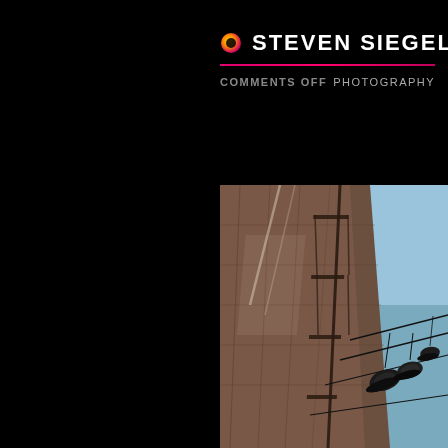STEVEN SIEGEL
COMMENTS OFF PHOTOGRAPHY
[Figure (photo): Urban street photograph rotated 90 degrees showing a New York City building with fire escapes and sneakers hanging from power lines against a blue sky]